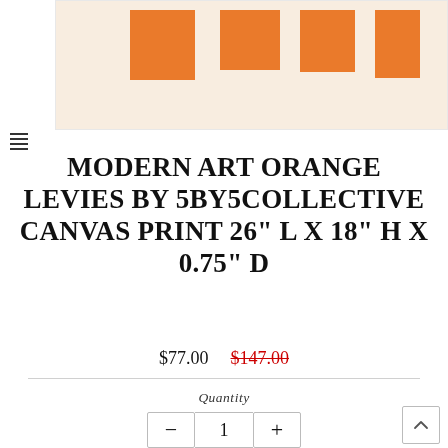[Figure (photo): Partial view of a modern art canvas print showing orange rectangular shapes on a cream/beige background, displayed with a white frame. A hamburger menu icon is visible on the left side.]
MODERN ART ORANGE LEVIES BY 5BY5COLLECTIVE CANVAS PRINT 26" L X 18" H X 0.75" D
$77.00  $147.00
Quantity
- 1 +